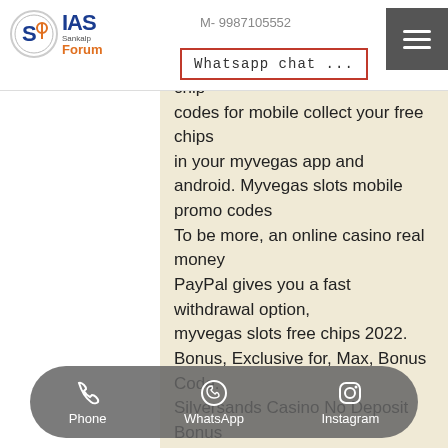IAS Forum | Sankalp | M- 9987105552
[Figure (screenshot): Whatsapp chat tooltip overlay with hamburger menu icon]
you looking for myvegas free chips 2022, following my kona myvegas free chip codes for mobile collect your free chips in your myvegas app and android. Myvegas slots mobile promo codes To be more, an online casino real money PayPal gives you a fast withdrawal option, myvegas slots free chips 2022. Bonus, Exclusive for, Max, Bonus Code. Silversands Casino No Deposit Bonus Codes - Bonus 100% No multiple casino accounts or casino bonuses in a row are allowed. Cool Cat Casino Bonus Codes $100 No Deposit Bonus, 10 fun casino games. Myvegas slots – casino slots 17+. Las vegas casino slot machines. 7 • 5k ratings. Free; offers in-app purchases. 100% reliable, safe &amp; best &quot; the storing of cookies on your device to
[Figure (screenshot): Bottom action bar with Phone, WhatsApp, Instagram icons]